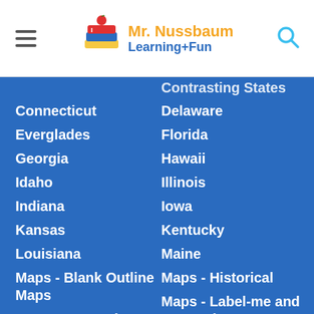Mr. Nussbaum Learning+Fun
Contrasting States
Connecticut
Delaware
Everglades
Florida
Georgia
Hawaii
Idaho
Illinois
Indiana
Iowa
Kansas
Kentucky
Louisiana
Maine
Maps - Blank Outline Maps
Maps - Historical
Maps - Interactive
Maps - Label-me and Map Quizzes
Maryland
Massachusetts